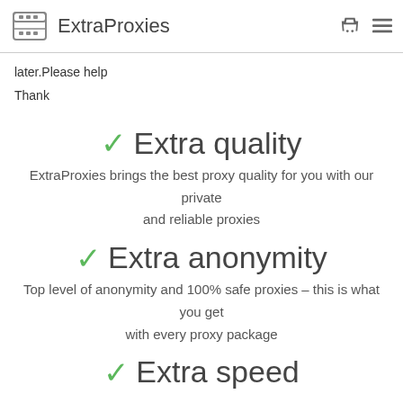ExtraProxies
later.Please help
Thank
✓ Extra quality
ExtraProxies brings the best proxy quality for you with our private and reliable proxies
✓ Extra anonymity
Top level of anonymity and 100% safe proxies – this is what you get with every proxy package
✓ Extra speed